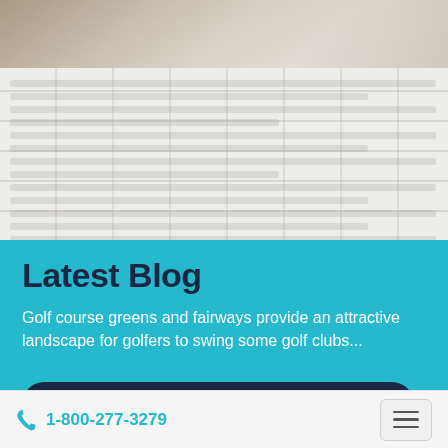[Figure (photo): Top photo strip showing a sandy/gravelly surface, partially cropped, appears to be a golf course sand trap or path.]
[Figure (photo): Blurred grid-like background resembling a newspaper or content grid layout, mid-grey tones.]
Latest Blog
Golf course greens and fairways provide an attractive landscape for golfers to swing some golf clubs...
READ MORE
1-800-277-3279